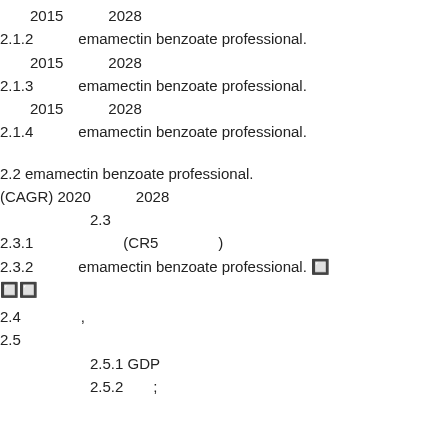2015　　　2028
2.1.2　　　emamectin benzoate professional.
2015　　　2028
2.1.3　　　emamectin benzoate professional.
2015　　　2028
2.1.4　　　emamectin benzoate professional.
2.2 emamectin benzoate professional.
(CAGR) 2020　　　2028
2.3
2.3.1　　　　　　(CR5　　　　)
2.3.2　　　emamectin benzoate professional. 🔲
🔲🔲
2.4　　　　,
2.5
2.5.1 GDP
2.5.2　　;